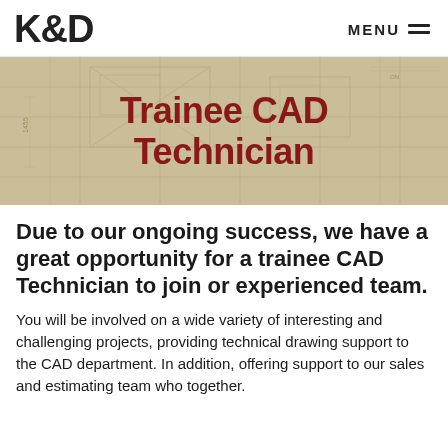K&D  MENU
[Figure (illustration): Banner image with beige/tan blueprint background showing CAD technical drawings, overlaid with the title 'Trainee CAD Technician' in bold dark red text centered on the image.]
Trainee CAD Technician
Due to our ongoing success, we have a great opportunity for a trainee CAD Technician to join or experienced team.
You will be involved on a wide variety of interesting and challenging projects, providing technical drawing support to the CAD department. In addition, offering support to our sales and estimating team who together.